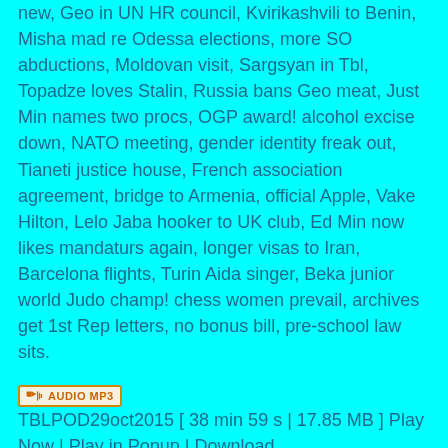new, Geo in UN HR council, Kvirikashvili to Benin, Misha mad re Odessa elections, more SO abductions, Moldovan visit, Sargsyan in Tbl, Topadze loves Stalin, Russia bans Geo meat, Just Min names two procs, OGP award! alcohol excise down, NATO meeting, gender identity freak out, Tianeti justice house, French association agreement, bridge to Armenia, official Apple, Vake Hilton, Lelo Jaba hooker to UK club, Ed Min now likes mandaturs again, longer visas to Iran, Barcelona flights, Turin Aida singer, Beka junior world Judo champ! chess women prevail, archives get 1st Rep letters, no bonus bill, pre-school law sits.
TBLPOD29oct2015 [ 38 min 59 s | 17.85 MB ] Play Now | Play in Popup | Download
Posted in Tbilisi | Tagged Abkhazia, ABL, Akhvlediani, Aliyevs, AmCham, Armenia, Association Agreement, Azerbaijan, Batumi, Bendukidze, Bokeria, CRRC, Gazprom, Georgia, Georgian Dream, Gharibashvili, GIPA, Gvaramia, Gviniashvili, Imedi TV, Ivanishvili, Kaladze, Khalvashi, Khetsuriani, Khidasheli, Kvirikashvili, Margvelashvili, Martvili, May 17th, NATO, Odessa, Open Government Partnership, Pankisi Gorge, Rachvelishvili,